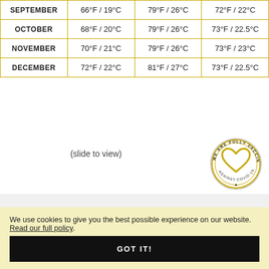| Month | Low | High | Avg |
| --- | --- | --- | --- |
| SEPTEMBER | 66°F / 19°C | 79°F / 26°C | 72°F / 22°C |
| OCTOBER | 68°F / 20°C | 79°F / 26°C | 73°F / 22.5°C |
| NOVEMBER | 70°F / 21°C | 79°F / 26°C | 73°F / 23°C |
| DECEMBER | 72°F / 22°C | 81°F / 27°C | 73°F / 22.5°C |
(slide to view)
[Figure (illustration): We Are Fully Vaccinated Against COVID-19 circular badge with a heart icon in gold/yellow]
Trip Extensions in Mainland Ecuador
We use cookies to give you the best possible experience on our website. Read our full policy.
GOT IT!